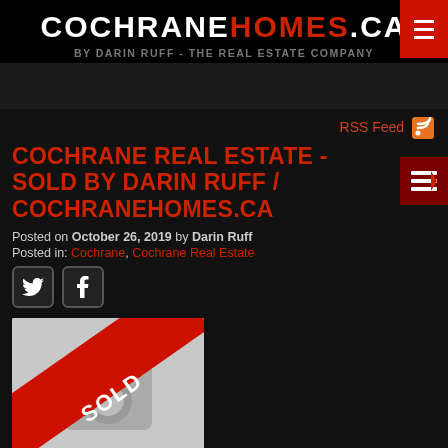COCHRANEHOMES.CA BY DARIN RUFF - THE REAL ESTATE COMPANY
COCHRANE REAL ESTATE - SOLD BY DARIN RUFF / COCHRANEHOMES.CA
Posted on October 26, 2019 by Darin Ruff
Posted in: Cochrane, Cochrane Real Estate
[Figure (photo): Sold banner overlay on a placeholder camera icon image]
RSS Feed